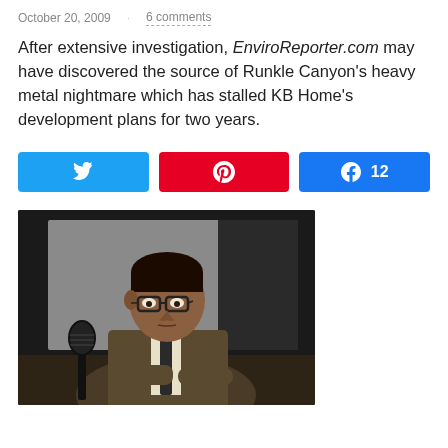October 20, 2009 · 6 comments
After extensive investigation, EnviroReporter.com may have discovered the source of Runkle Canyon's heavy metal nightmare which has stalled KB Home's development plans for two years.
[Figure (infographic): Three social sharing buttons: Twitter (blue), Pinterest (red), Facebook (blue) with count 12]
[Figure (photo): A man in a brown suit jacket, wearing glasses, seated at a table with a microphone in front of him, appearing to speak at a meeting or hearing. Dark background.]